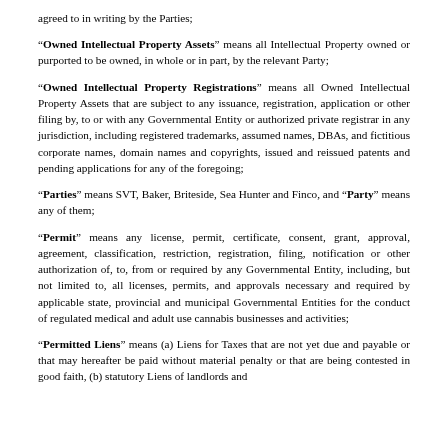agreed to in writing by the Parties;
"Owned Intellectual Property Assets" means all Intellectual Property owned or purported to be owned, in whole or in part, by the relevant Party;
"Owned Intellectual Property Registrations" means all Owned Intellectual Property Assets that are subject to any issuance, registration, application or other filing by, to or with any Governmental Entity or authorized private registrar in any jurisdiction, including registered trademarks, assumed names, DBAs, and fictitious corporate names, domain names and copyrights, issued and reissued patents and pending applications for any of the foregoing;
"Parties" means SVT, Baker, Briteside, Sea Hunter and Finco, and "Party" means any of them;
"Permit" means any license, permit, certificate, consent, grant, approval, agreement, classification, restriction, registration, filing, notification or other authorization of, to, from or required by any Governmental Entity, including, but not limited to, all licenses, permits, and approvals necessary and required by applicable state, provincial and municipal Governmental Entities for the conduct of regulated medical and adult use cannabis businesses and activities;
"Permitted Liens" means (a) Liens for Taxes that are not yet due and payable or that may hereafter be paid without material penalty or that are being contested in good faith, (b) statutory Liens of landlords and